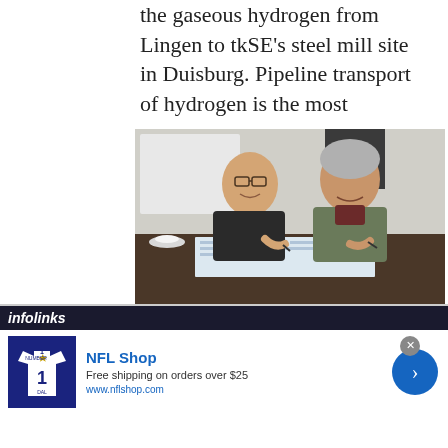the gaseous hydrogen from Lingen to tkSE's steel mill site in Duisburg. Pipeline transport of hydrogen is the most
[Figure (photo): Two men in business casual attire sitting at a dark conference table, signing documents together, smiling at the camera. One man wears glasses and a patterned sweater; the other wears a grey suit jacket. A whiteboard and chairs are visible in the background.]
economical delivery option. In dialogue with gas network operators, and the
[Figure (infographic): Infolinks advertisement banner for NFL Shop. Shows NFL jersey image on left, 'NFL Shop' title in blue, 'Free shipping on orders over $25' subtitle, 'www.nflshop.com' URL, and a blue circular arrow button on the right. Has a grey close button and infolinks branding bar.]